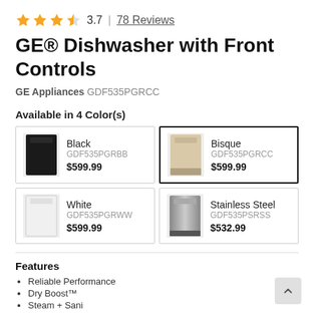3.7 | 78 Reviews
GE® Dishwasher with Front Controls
GE Appliances GDF535PGRCC
Available in 4 Color(s)
| Color | SKU | Price |
| --- | --- | --- |
| Black | GDF535PGRBB | $599.99 |
| Bisque | GDF535PGRCC | $599.99 |
| White | GDF535PGRWW | $599.99 |
| Stainless Steel | GDF535PSRSS | $532.99 |
Features
Reliable Performance
Dry Boost™
Steam + Sani